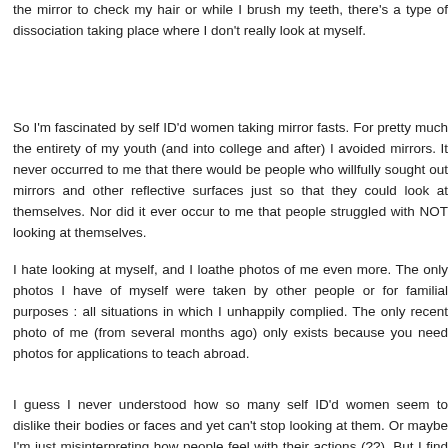the mirror to check my hair or while I brush my teeth, there's a type of dissociation taking place where I don't really look at myself.
So I'm fascinated by self ID'd women taking mirror fasts. For pretty much the entirety of my youth (and into college and after) I avoided mirrors. It never occurred to me that there would be people who willfully sought out mirrors and other reflective surfaces just so that they could look at themselves. Nor did it ever occur to me that people struggled with NOT looking at themselves.
I hate looking at myself, and I loathe photos of me even more. The only photos I have of myself were taken by other people or for familial purposes : all situations in which I unhappily complied. The only recent photo of me (from several months ago) only exists because you need photos for applications to teach abroad.
I guess I never understood how so many self ID'd women seem to dislike their bodies or faces and yet can't stop looking at them. Or maybe I'm just misinterpreting how people feel with their actions (??). But I find myself ugh...